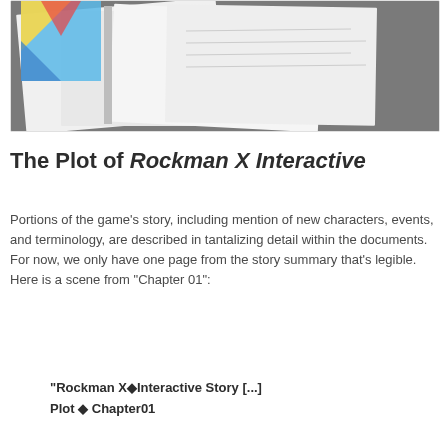[Figure (photo): Photo of printed booklets/documents on a gray surface, showing colorful artwork partially visible at top left and white pages spread open.]
The Plot of Rockman X Interactive
Portions of the game's story, including mention of new characters, events, and terminology, are described in tantalizing detail within the documents. For now, we only have one page from the story summary that's legible. Here is a scene from "Chapter 01":
"Rockman X Interactive Story [...] Plot  Chapter01